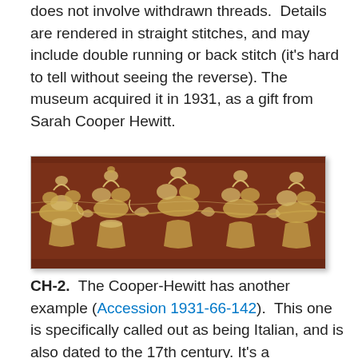does not involve withdrawn threads.  Details are rendered in straight stitches, and may include double running or back stitch (it's hard to tell without seeing the reverse). The museum acquired it in 1931, as a gift from Sarah Cooper Hewitt.
[Figure (photo): Photograph of a horizontal textile fragment with a rust/reddish-brown background and cream/gold woven floral and botanical patterns including leaves, flowers, and vase motifs.]
CH-2.  The Cooper-Hewitt has another example (Accession 1931-66-142).  This one is specifically called out as being Italian, and is also dated to the 17th century. It's a particularly prime piece because it is a full span cut across the end of the towel, cover or cloth it came from. It's a particularly prime piece because it is a full span cut across the end of the towel, cover or cloth it came from.